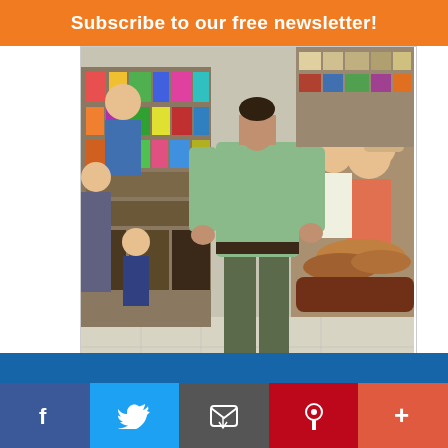Subscribe to our free newsletter!
[Figure (photo): A man in a green shirt and grey-green pants stands in a busy market with shelves of goods behind him. Other people including women and children are visible in the background.]
A dutiful helper poses for a picture.
My job kept me focused on coordinating my movements with Rosa's. I watched as meals